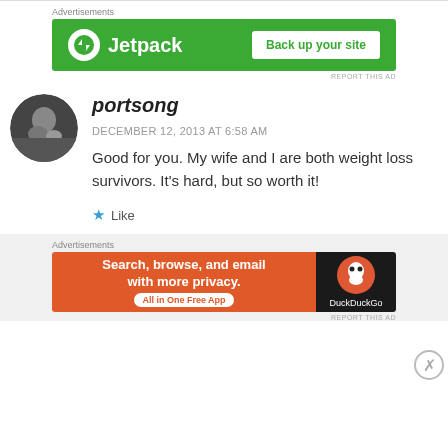[Figure (other): Jetpack advertisement banner with green background, Jetpack logo and 'Back up your site' button]
portsong
DECEMBER 12, 2013 AT 6:58 AM
Good for you. My wife and I are both weight loss survivors. It's hard, but so worth it!
Like
[Figure (other): DuckDuckGo advertisement banner: 'Search, browse, and email with more privacy. All in One Free App']